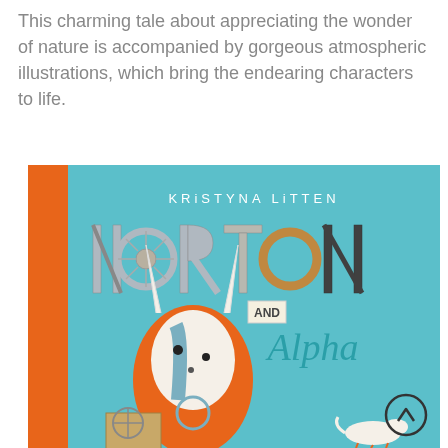This charming tale about appreciating the wonder of nature is accompanied by gorgeous atmospheric illustrations, which bring the endearing characters to life.
[Figure (illustration): Book cover of 'Norton and Alpha' by Kristyna Litten. Light blue background with orange spine on the left. Title 'NORTON' in large decorative mechanical/steampunk letters at the top center, 'AND' in a small box, and 'Alpha' in teal cursive script. Author name 'KRISTYNA LITTEN' in small caps near the top. A cute robot-like character (Norton) with an orange and white body, large oval head with bunny ears, small black eyes, and blue markings stands center-left holding a box. A small white animal (dog or cat) appears at the bottom right. A circular navigation arrow icon is in the lower right corner.]